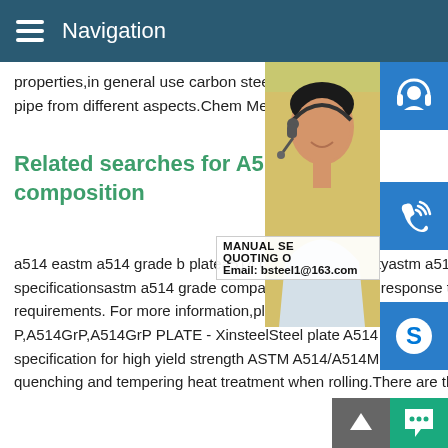Navigation
properties,in general use carbon steel and 240 MPa,tensile strength 415 Mpa.Below Grade B pipe from different aspects.Chem Mechanical Strength Dimensions Material
Related searches for A514 Gr composition
a514 eastm a514 grade b platea514 grade machinabilityastm a514 steelastm a514 gr specificationsastm a514 grade comparison removed in response to a notice of local law requirements. For more information,please see here.Previous123456NextA514 Grade P,A514GrP,A514GrP PLATE - XinsteelSteel plate A514 Grade P is under steel standard specification for high yield strength ASTM A514/A514M.A514GrP is alloy steel plate with quenching and tempering heat treatment when rolling.There are the similar st
[Figure (photo): Customer service woman with headset on yellow/bokeh background]
[Figure (infographic): Blue icon buttons: headset, phone, Skype on right side panel. Contact popup with MANUAL SE, QUOTING O, Email: bsteel1@163.com. Green chat bubble and grey scroll-to-top arrow at bottom right.]